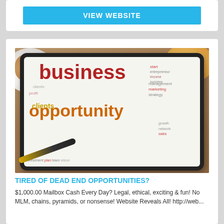VIEW WEBSITE
[Figure (photo): A tablet device displaying a business opportunity word cloud with the words 'business' in red and 'opportunity' in orange, surrounded by smaller related words. The tablet is on a wooden surface with a stylus pen, and bowls of snacks visible in the background.]
TIRED OF DEAD END OPPORTUNITIES?
$1,000.00 Mailbox Cash Every Day? Legal, ethical, exciting & fun! No MLM, chains, pyramids, or nonsense! Website Reveals All! http://web...